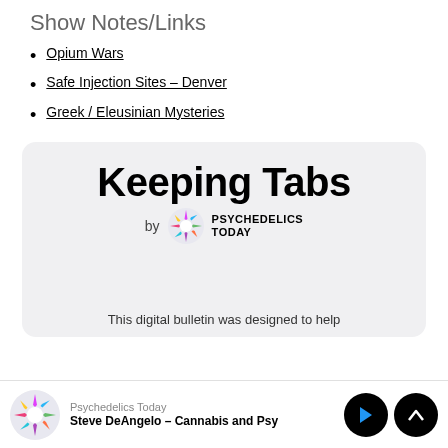Show Notes/Links
Opium Wars
Safe Injection Sites – Denver
Greek / Eleusinian Mysteries
[Figure (logo): Keeping Tabs by Psychedelics Today newsletter/podcast logo on light grey card background]
This digital bulletin was designed to help
Psychedelics Today | Steve DeAngelo – Cannabis and Ps…